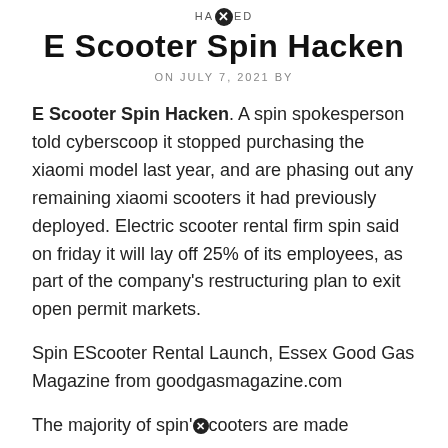HACKED
E Scooter Spin Hacken
ON JULY 7, 2021 BY
E Scooter Spin Hacken. A spin spokesperson told cyberscoop it stopped purchasing the xiaomi model last year, and are phasing out any remaining xiaomi scooters it had previously deployed. Electric scooter rental firm spin said on friday it will lay off 25% of its employees, as part of the company's restructuring plan to exit open permit markets.
Spin EScooter Rental Launch, Essex Good Gas Magazine from goodgasmagazine.com
The majority of spin's cooters are made